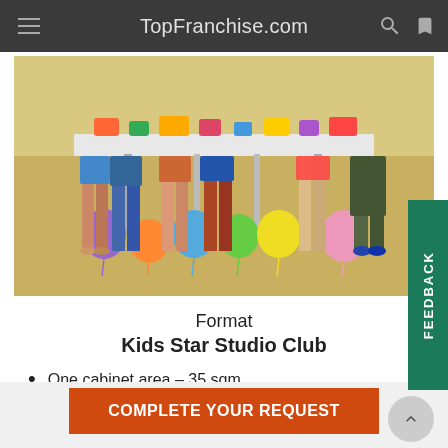TopFranchise.com
[Figure (photo): Children standing around a party table decorated with colorful balloons and party food, viewed from the waist down]
Format
Kids Star Studio Club
One cabinet area – 35 sqm.
Preferably to place the club in a densely populated area, away from industrial zones: in the territory of business
COMPLETE YOUR REQUEST